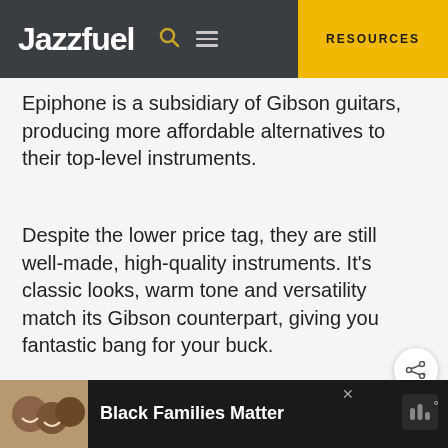Jazzfuel — RESOURCES
Epiphone is a subsidiary of Gibson guitars, producing more affordable alternatives to their top-level instruments.
Despite the lower price tag, they are still well-made, high-quality instruments. It's classic looks, warm tone and versatility match its Gibson counterpart, giving you fantastic bang for your buck.
[Figure (screenshot): Advertisement bar at bottom with photo of smiling people and text 'Black Families Matter']